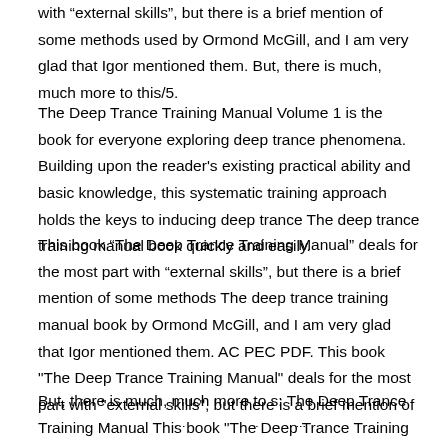with "external skills", but there is a brief mention of some methods used by Ormond McGill, and I am very glad that Igor mentioned them. But, there is much, much more to this/5.
The Deep Trance Training Manual Volume 1 is the book for everyone exploring deep trance phenomena. Building upon the reader's existing practical ability and basic knowledge, this systematic training approach holds the keys to inducing deep trance The deep trance training manual book quickly and easily.
This book “The Deep Trance Training Manual” deals for the most part with “external skills”, but there is a brief mention of some methods The deep trance training manual book by Ormond McGill, and I am very glad that Igor mentioned them. AC PEC PDF. This book "The Deep Trance Training Manual" deals for the most part with "external skills", but there is a brief mention of some methods used by Ormond McGill, and I am very glad that Igor mentioned them.
But, there is much, much more to s: The Deep Trance Training Manual This book "The Deep Trance Training Manual" deals for the most part with "external skills", but there is a brief mention of some methods